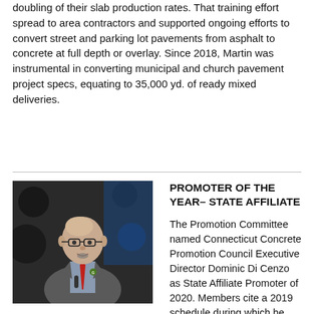doubling of their slab production rates. That training effort spread to area contractors and supported ongoing efforts to convert street and parking lot pavements from asphalt to concrete at full depth or overlay. Since 2018, Martin was instrumental in converting municipal and church pavement project specs, equating to 35,000 yd. of ready mixed deliveries.
[Figure (photo): Photo of a bald man with glasses wearing a grey suit and red tie, speaking at a podium with a microphone, in front of a dark decorated backdrop.]
PROMOTER OF THE YEAR– STATE AFFILIATE
The Promotion Committee named Connecticut Concrete Promotion Council Executive Director Dominic Di Cenzo as State Affiliate Promoter of 2020. Members cite a 2019 schedule during which he hosted or